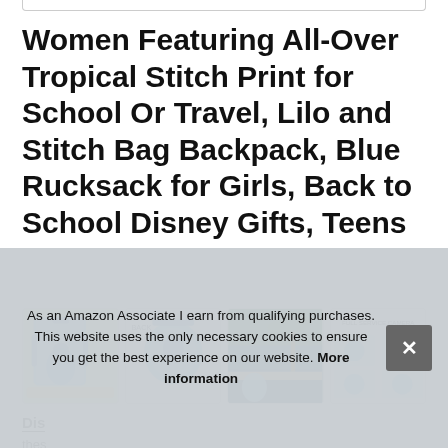Women Featuring All-Over Tropical Stitch Print for School Or Travel, Lilo and Stitch Bag Backpack, Blue Rucksack for Girls, Back to School Disney Gifts, Teens
[Figure (photo): Four product thumbnail images showing Lilo and Stitch backpack from different angles and with product information graphics]
Dis...
thes...
disappointment. We love the tropical colours from the bright
As an Amazon Associate I earn from qualifying purchases. This website uses the only necessary cookies to ensure you get the best experience on our website. More information